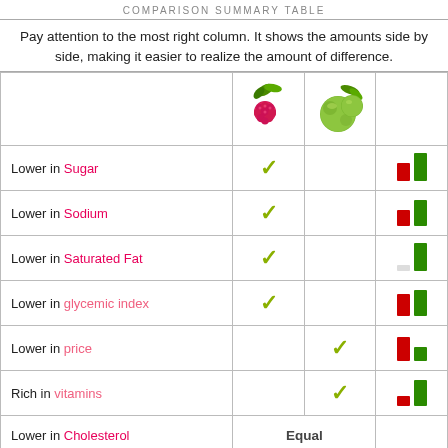COMPARISON SUMMARY TABLE
Pay attention to the most right column. It shows the amounts side by side, making it easier to realize the amount of difference.
|  | raspberry | guava | bar comparison |
| --- | --- | --- | --- |
| Lower in Sugar | ✓ |  | bar |
| Lower in Sodium | ✓ |  | bar |
| Lower in Saturated Fat | ✓ |  | bar |
| Lower in glycemic index | ✓ |  | bar |
| Lower in price |  | ✓ | bar |
| Rich in vitamins |  | ✓ | bar |
| Lower in Cholesterol | Equal | Equal |  |
| Rich in minerals | Equal | Equal |  |